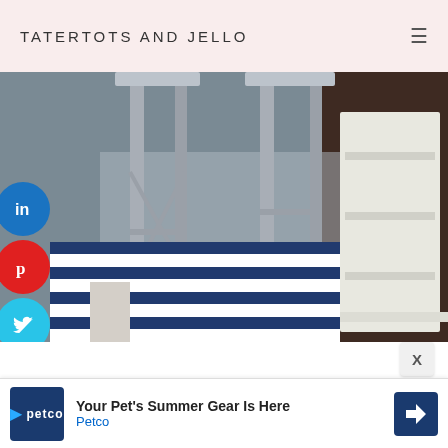TATERTOTS AND JELLO
[Figure (photo): Kitchen photo showing silver/grey metal bar stools on a navy and white striped rug, with white shelving unit and dark wood floors in background]
While my kitchen is r
colored chandelier –
spray-painted!
[Figure (infographic): Advertisement banner: Your Pet's Summer Gear Is Here – Petco, with Petco logo and blue arrow icon]